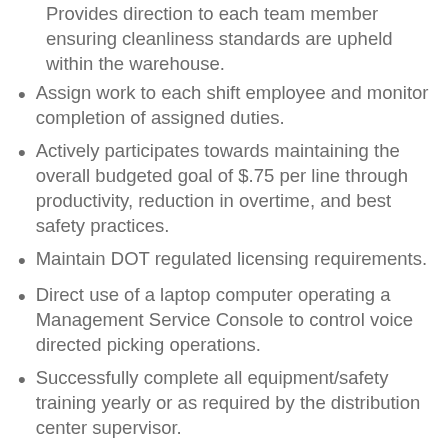Provides direction to each team member ensuring cleanliness standards are upheld within the warehouse.
Assign work to each shift employee and monitor completion of assigned duties.
Actively participates towards maintaining the overall budgeted goal of $.75 per line through productivity, reduction in overtime, and best safety practices.
Maintain DOT regulated licensing requirements.
Direct use of a laptop computer operating a Management Service Console to control voice directed picking operations.
Successfully complete all equipment/safety training yearly or as required by the distribution center supervisor.